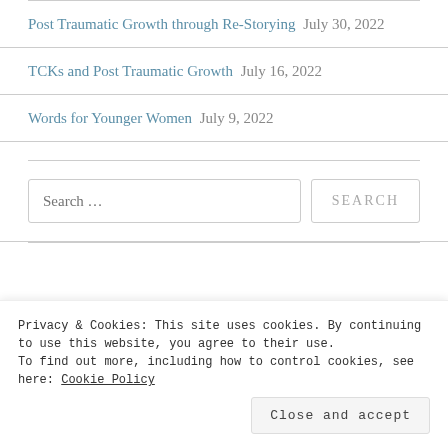Post Traumatic Growth through Re-Storying July 30, 2022
TCKs and Post Traumatic Growth July 16, 2022
Words for Younger Women July 9, 2022
Search …
Privacy & Cookies: This site uses cookies. By continuing to use this website, you agree to their use. To find out more, including how to control cookies, see here: Cookie Policy
Close and accept